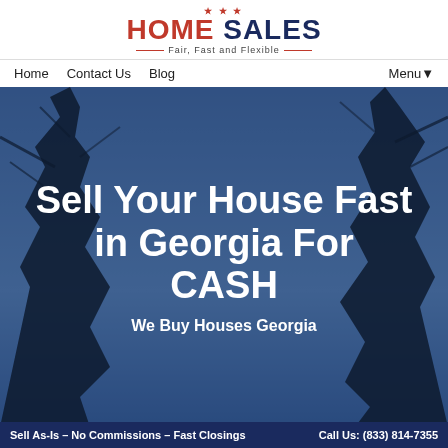[Figure (logo): Home Sales logo with red HOME SALES text, tagline 'Fair, Fast and Flexible' with red underline]
Home   Contact Us   Blog   Menu▼
[Figure (photo): Background photo of bare winter trees against a blue sky, overlaid with dark navy blue tint]
Sell Your House Fast in Georgia For CASH
We Buy Houses Georgia
Sell As-Is – No Commissions – Fast Closings   Call Us: (833) 814-7355